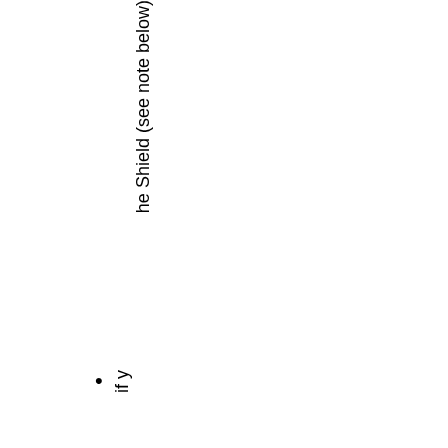he Shield (see note below)
if y